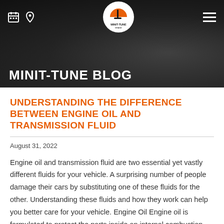MINIT-TUNE BLOG
UNDERSTANDING THE DIFFERENCE BETWEEN ENGINE OIL AND TRANSMISSION FLUID
August 31, 2022
Engine oil and transmission fluid are two essential yet vastly different fluids for your vehicle. A surprising number of people damage their cars by substituting one of these fluids for the other. Understanding these fluids and how they work can help you better care for your vehicle. Engine Oil Engine oil is formulated to protect the parts inside an internal combustion engine. Oil lubricates the…